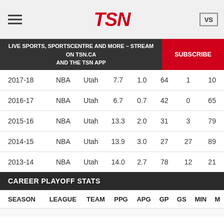TSN
LIVE SPORTS, SPORTSCENTRE AND MORE – STREAM ON TSN.CA AND THE TSN APP | SUBSCRIBE
| SEASON | LEAGUE | TEAM | PPG | APG | GP | GS | MIN | M |
| --- | --- | --- | --- | --- | --- | --- | --- | --- |
| 2017-18 | NBA | Utah | 7.7 | 1.0 | 64 | 1 | 10 |
| 2016-17 | NBA | Utah | 6.7 | 0.7 | 42 | 0 | 65 |
| 2015-16 | NBA | Utah | 13.3 | 2.0 | 31 | 3 | 79 |
| 2014-15 | NBA | Utah | 13.9 | 3.0 | 27 | 27 | 89 |
| 2013-14 | NBA | Utah | 14.0 | 2.7 | 78 | 12 | 21 |
| 2012-13 | NBA | Utah | 7.0 | 1.4 | 64 | 0 | 11 |
| 2011-12 | NBA | Utah | 7.2 | 0.9 | 59 | 0 | 93 |
| - | NBA | Total | 10.6 | 2.0 | 625 | 135 | 143 |
CAREER PLAYOFF STATS
| SEASON | LEAGUE | TEAM | PPG | APG | GP | GS | MIN | M |
| --- | --- | --- | --- | --- | --- | --- | --- | --- |